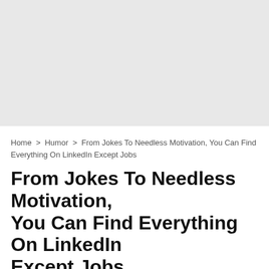[Figure (other): Gray placeholder advertisement banner area at top of page]
Home > Humor > From Jokes To Needless Motivation, You Can Find Everything On LinkedIn Except Jobs
From Jokes To Needless Motivation, You Can Find Everything On LinkedIn Except Jobs
TRENDING  VIDEOS  STORIES  QUIZZES  MEMES